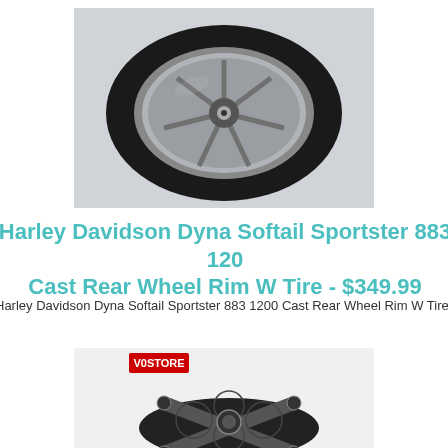[Figure (photo): Photo of a Harley Davidson motorcycle rear wheel rim with tire, showing a dark cast wheel with spokes against a light background]
Harley Davidson Dyna Softail Sportster 883 1200 Cast Rear Wheel Rim W Tire - $349.99
Harley Davidson Dyna Softail Sportster 883 1200 Cast Rear Wheel Rim W Tire
[Figure (photo): Photo of a black air cleaner/filter assembly for Harley Davidson motorcycle with VOSTORE logo badge, showing a decorative X-pattern design with mesh inserts]